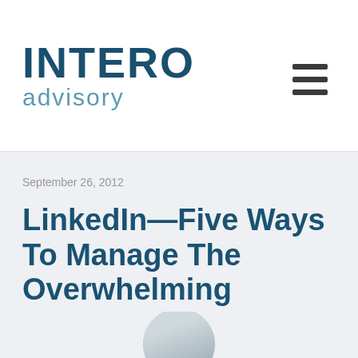INTERO advisory
September 26, 2012
LinkedIn—Five Ways To Manage The Overwhelming
[Figure (photo): Circular cropped portrait photo of a person, partially visible at the bottom of the page]